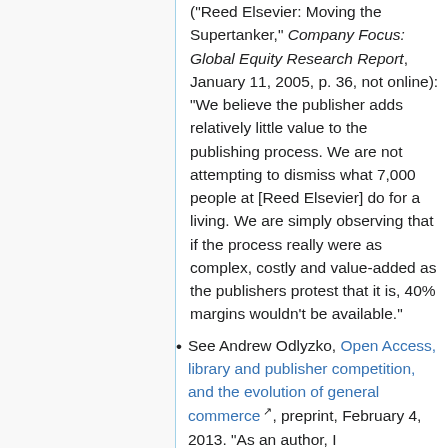("Reed Elsevier: Moving the Supertanker," Company Focus: Global Equity Research Report, January 11, 2005, p. 36, not online): "We believe the publisher adds relatively little value to the publishing process. We are not attempting to dismiss what 7,000 people at [Reed Elsevier] do for a living. We are simply observing that if the process really were as complex, costly and value-added as the publishers protest that it is, 40% margins wouldn't be available."
See Andrew Odlyzko, Open Access, library and publisher competition, and the evolution of general commerce, preprint, February 4, 2013. "As an author, I